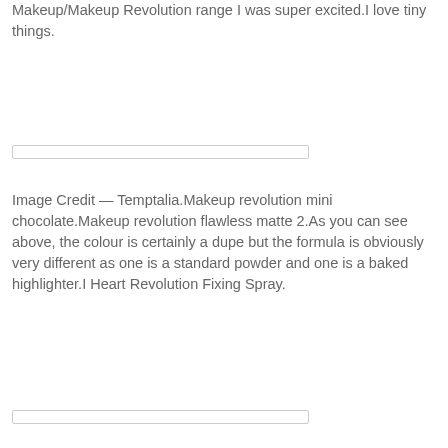Makeup/Makeup Revolution range I was super excited.I love tiny things.
[Figure (other): Horizontal divider/placeholder image box]
Image Credit — Temptalia.Makeup revolution mini chocolate.Makeup revolution flawless matte 2.As you can see above, the colour is certainly a dupe but the formula is obviously very different as one is a standard powder and one is a baked highlighter.I Heart Revolution Fixing Spray.
[Figure (other): Horizontal divider/placeholder image box]